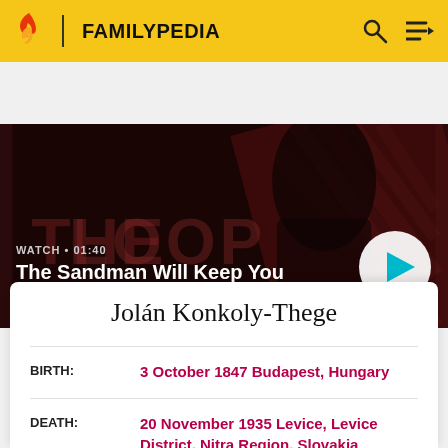FAMILYPEDIA
[Figure (screenshot): Video thumbnail banner showing 'The Sandman Will Keep You Awake - The Loop' with WATCH • 01:40 label and play button]
Jolán Konkoly-Thege
BIRTH: 3 October 1847 Budapest, Hungary
DEATH: 20 November 1935 Levice, Levice District, Nitra Region, Slovakia
FATHER: Pál Konkoly-Thege (1815-1884)